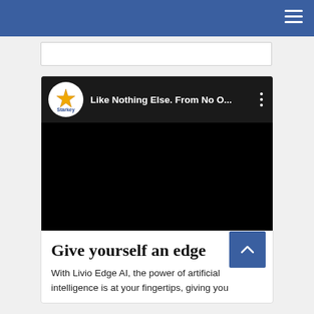Navigation header bar with hamburger menu
[Figure (screenshot): YouTube-style video thumbnail showing Starkey logo and title 'Like Nothing Else. From No O...' with a black video frame]
Give yourself an edge
With Livio Edge AI, the power of artificial intelligence is at your fingertips, giving you